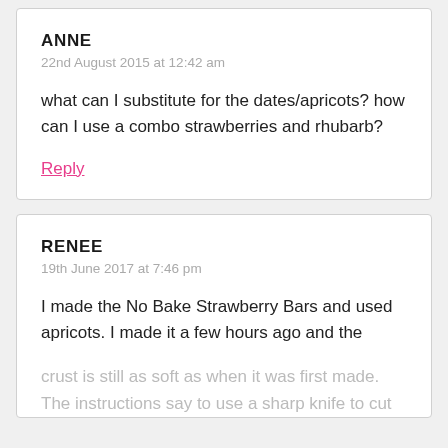ANNE
22nd August 2015 at 12:42 am
what can I substitute for the dates/apricots? how can I use a combo strawberries and rhubarb?
Reply
RENEE
19th June 2017 at 7:46 pm
I made the No Bake Strawberry Bars and used apricots. I made it a few hours ago and the crust is still as soft as when it was first made. The instructions say to use a sharp knife to cut